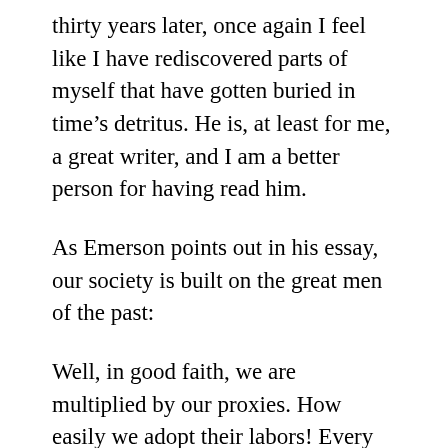thirty years later, once again I feel like I have rediscovered parts of myself that have gotten buried in time's detritus. He is, at least for me, a great writer, and I am a better person for having read him.
As Emerson points out in his essay, our society is built on the great men of the past:
Well, in good faith, we are multiplied by our proxies. How easily we adopt their labors! Every ship that comes to America got its chart from Columbus. Every novel is a debtor to Homer. Every carpenter who shaves with a fore-plane borrows the genius of a forgotten inventor. Life is girt all round with a zodiac of sciences, the